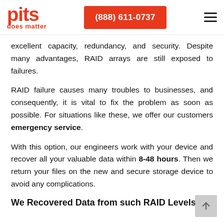pits does matter | (888) 611-0737
excellent capacity, redundancy, and security. Despite many advantages, RAID arrays are still exposed to failures.
RAID failure causes many troubles to businesses, and consequently, it is vital to fix the problem as soon as possible. For situations like these, we offer our customers emergency service.
With this option, our engineers work with your device and recover all your valuable data within 8-48 hours. Then we return your files on the new and secure storage device to avoid any complications.
We Recovered Data from such RAID Levels as: